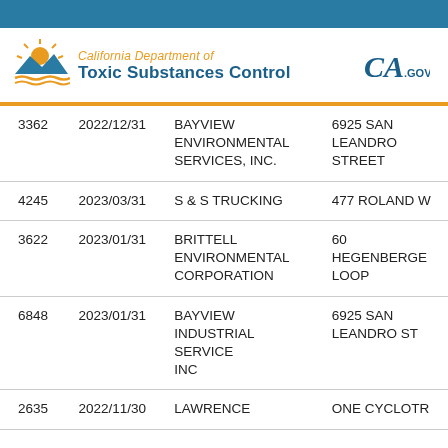California Department of Toxic Substances Control
| ID | Date | Name | Address |
| --- | --- | --- | --- |
| 3362 | 2022/12/31 | BAYVIEW ENVIRONMENTAL SERVICES, INC. | 6925 SAN LEANDRO STREET |
| 4245 | 2023/03/31 | S & S TRUCKING | 477 ROLAND W |
| 3622 | 2023/01/31 | BRITTELL ENVIRONMENTAL CORPORATION | 60 HEGENBERGE LOOP |
| 6848 | 2023/01/31 | BAYVIEW INDUSTRIAL SERVICE INC | 6925 SAN LEANDRO ST |
| 2635 | 2022/11/30 | LAWRENCE | ONE CYCLOTR |